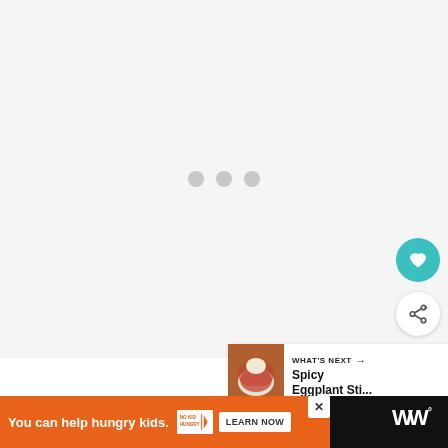[Figure (screenshot): Loading screen with three gray dots on a light gray background]
[Figure (other): Teal circular heart/favorite button]
[Figure (other): White circular share button with share icon]
[Figure (other): What's Next card showing Spicy Eggplant Sti... with food photo thumbnail]
[Figure (other): Advertisement banner: You can help hungry kids. No Kid Hungry. Learn Now. With WW logo.]